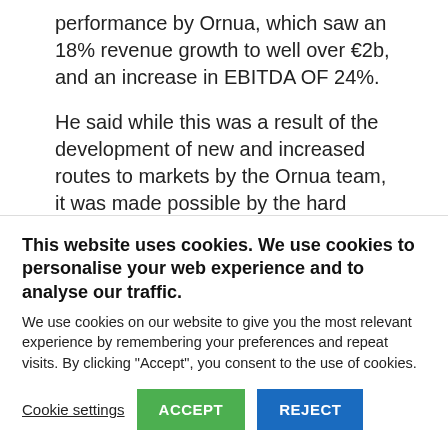performance by Ornua, which saw an 18% revenue growth to well over €2b, and an increase in EBITDA OF 24%.
He said while this was a result of the development of new and increased routes to markets by the Ornua team, it was made possible by the hard work of Irish dairy farmers and...
This website uses cookies. We use cookies to personalise your web experience and to analyse our traffic.
We use cookies on our website to give you the most relevant experience by remembering your preferences and repeat visits. By clicking "Accept", you consent to the use of cookies.